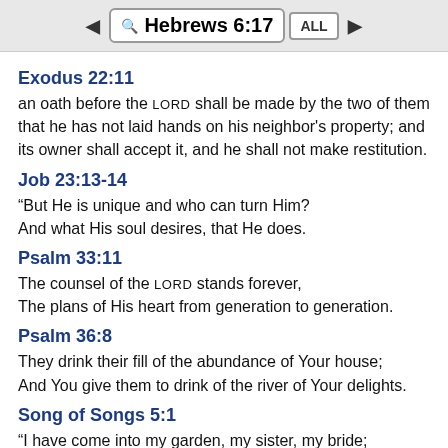Hebrews 6:17 ALL
Exodus 22:11
an oath before the LORD shall be made by the two of them that he has not laid hands on his neighbor's property; and its owner shall accept it, and he shall not make restitution.
Job 23:13-14
“But He is unique and who can turn Him?
And what His soul desires, that He does.
Psalm 33:11
The counsel of the LORD stands forever,
The plans of His heart from generation to generation.
Psalm 36:8
They drink their fill of the abundance of Your house;
And You give them to drink of the river of Your delights.
Song of Songs 5:1
“I have come into my garden, my sister, my bride;